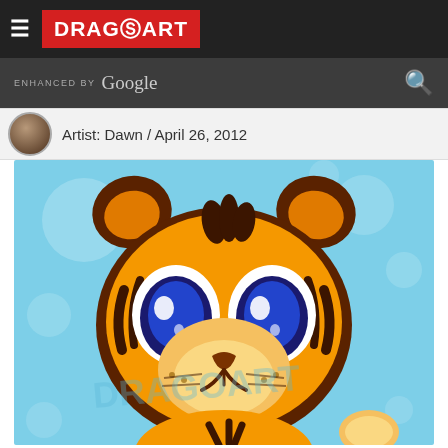DRAGOART
ENHANCED BY Google
Artist: Dawn / April 26, 2012
[Figure (illustration): Cute cartoon tiger cub with big blue eyes, orange and dark brown stripes, smiling expression, light blue bubbly background, watermarked dragoart.com illustration]